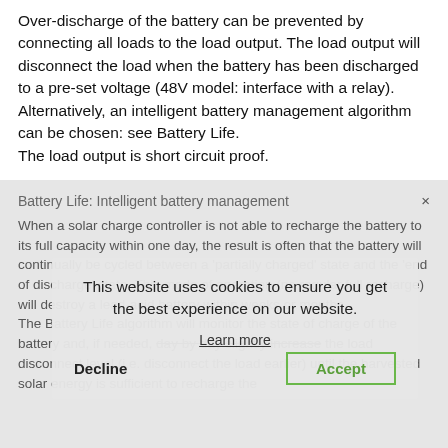Over-discharge of the battery can be prevented by connecting all loads to the load output. The load output will disconnect the load when the battery has been discharged to a pre-set voltage (48V model: interface with a relay). Alternatively, an intelligent battery management algorithm can be chosen: see Battery Life.
The load output is short circuit proof.
Battery Life: Intelligent battery management
When a solar charge controller is not able to recharge the battery to its full capacity within one day, the result is often that the battery will continually be cycled between a 'partially charged' state and the 'end of discharge' state. This mode of operation (no regular full recharge) will destroy a lead-acid battery within weeks or months.
The Battery Life algorithm will monitor the state of charge of the battery and, if needed, day by day slightly increase the load disconnect level (i.e. disconnect the load earlier) until the harvested solar energy is sufficient to recharge the
This website uses cookies to ensure you get the best experience on our website.
Learn more
Decline
Accept